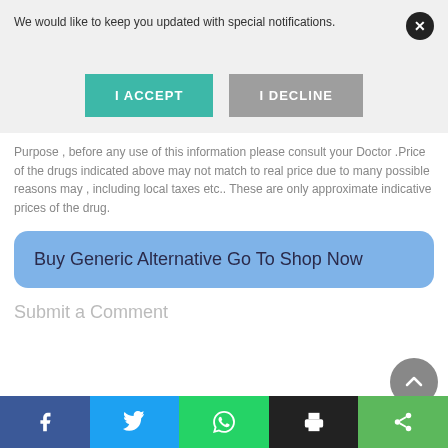We would like to keep you updated with special notifications.
I ACCEPT
I DECLINE
Purpose , before any use of this information please consult your Doctor .Price of the drugs indicated above may not match to real price due to many possible reasons may , including local taxes etc.. These are only approximate indicative prices of the drug.
Buy Generic Alternative Go To Shop Now
Submit a Comment